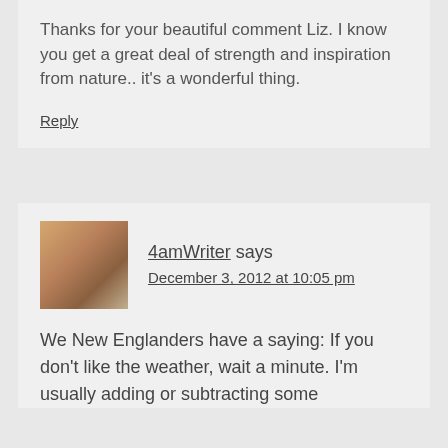Thanks for your beautiful comment Liz. I know you get a great deal of strength and inspiration from nature.. it's a wonderful thing.
Reply
4amWriter says December 3, 2012 at 10:05 pm
We New Englanders have a saying: If you don't like the weather, wait a minute. I'm usually adding or subtracting some outerwear in the middle of the day.